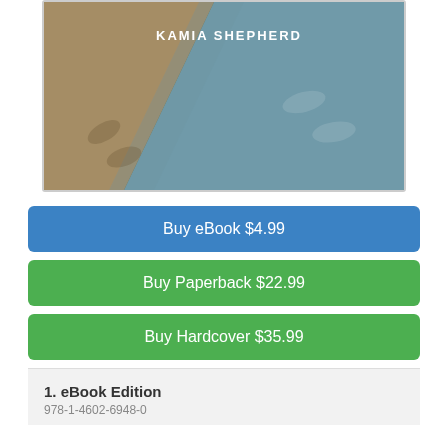[Figure (illustration): Book cover image showing a split background: sandy/golden tone on the lower left and dusty blue/teal on the right, with the author name 'KAMIA SHEPHERD' in white text in the upper middle area. The cover appears to show abstract footprints or impressions in sand and on the blue surface.]
Buy eBook $4.99
Buy Paperback $22.99
Buy Hardcover $35.99
1. eBook Edition
978-1-4602-6948-0